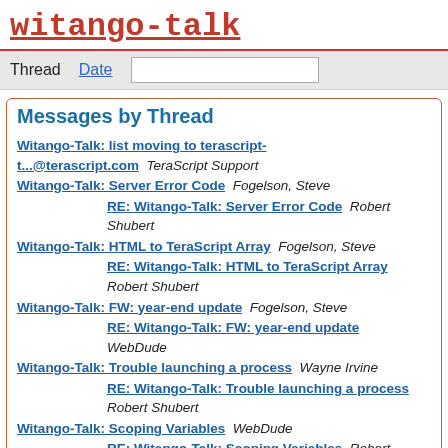witango-talk
Thread   Date   [search box]
Messages by Thread
Witango-Talk: list moving to terascript-t...@terascript.com   TeraScript Support
Witango-Talk: Server Error Code   Fogelson, Steve
RE: Witango-Talk: Server Error Code   Robert Shubert
Witango-Talk: HTML to TeraScript Array   Fogelson, Steve
RE: Witango-Talk: HTML to TeraScript Array   Robert Shubert
Witango-Talk: FW: year-end update   Fogelson, Steve
RE: Witango-Talk: FW: year-end update   WebDude
Witango-Talk: Trouble launching a process   Wayne Irvine
RE: Witango-Talk: Trouble launching a process   Robert Shubert
Witango-Talk: Scoping Variables   WebDude
RE: Witango-Talk: Scoping Variables   Robert Shubert
RE: Witango-Talk: Scoping Variables   Tom